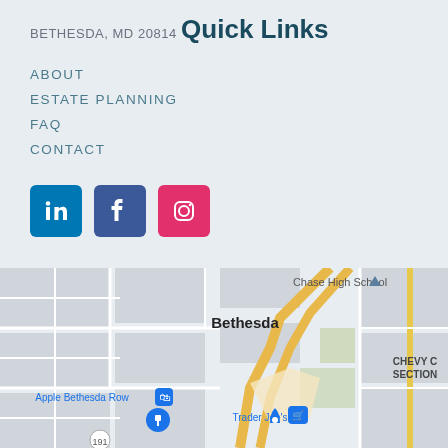BETHESDA, MD 20814
Quick Links
ABOUT
ESTATE PLANNING
FAQ
CONTACT
[Figure (other): Social media icons: LinkedIn (blue), Facebook (dark blue), Instagram (pink)]
[Figure (map): Google Maps view of Bethesda, MD area showing Chase High School, Apple Bethesda Row, Trader Joe's, and Chevy Chase Section labels with road network]